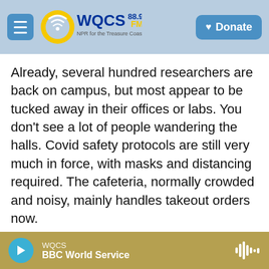WQCS 88.9 FM – NPR for the Treasure Coast | Donate
Already, several hundred researchers are back on campus, but most appear to be tucked away in their offices or labs. You don't see a lot of people wandering the halls. Covid safety protocols are still very much in force, with masks and distancing required. The cafeteria, normally crowded and noisy, mainly handles takeout orders now.
Before the pandemic, lunch was only served between 11:30 a.m. and 1 p.m., again, by design. Seating was at big round tables with eight chairs each, like at a wedding.
WQCS – BBC World Service